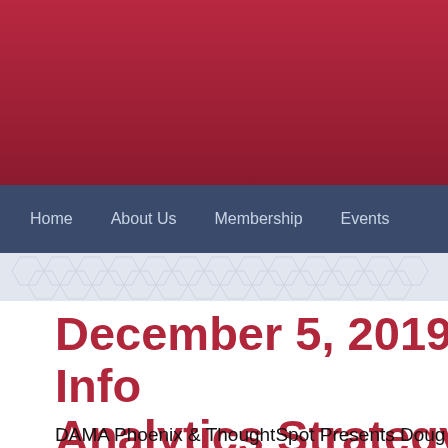Home   About Us   Membership   Events
December 5, 2019 – Info Analytics Strategy
DAMA Phoenix & ThoughtSpot Presents Doug Laney
Click Here to Register